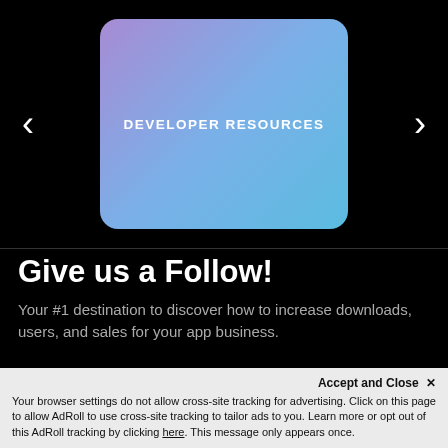[Figure (screenshot): Developer Resources carousel card with gradient background (purple to blue), flanked by left and right navigation arrows on a black background]
Give us a Follow!
Your #1 destination to discover how to increase downloads, users, and sales for your app business.
Accept and Close ×
Your browser settings do not allow cross-site tracking for advertising. Click on this page to allow AdRoll to use cross-site tracking to tailor ads to you. Learn more or opt out of this AdRoll tracking by clicking here. This message only appears once.